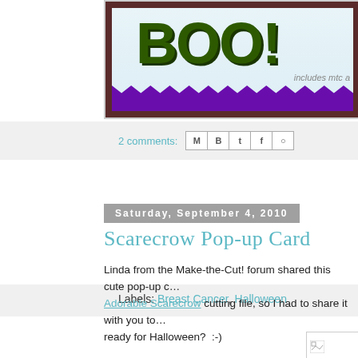[Figure (illustration): Partial view of a Halloween BOO! card with green bold text, light blue background, purple scalloped border, dark brown frame. Text 'includes mtc a' visible at bottom right.]
2 comments:
Labels: Breast Cancer, Halloween
Saturday, September 4, 2010
Scarecrow Pop-up Card
Linda from the Make-the-Cut! forum shared this cute pop-up c… Adorable Scarecrow cutting file, so I had to share it with you to… ready for Halloween?  :-)
[Figure (illustration): Partially visible image with a broken image icon in the bottom right area]